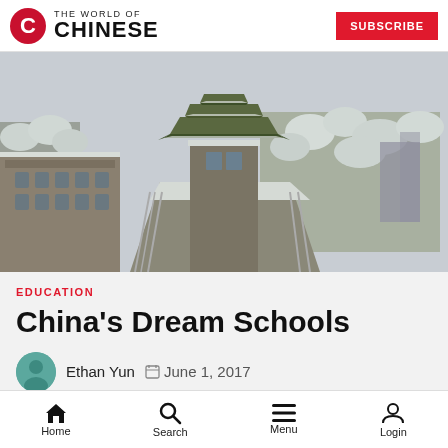THE WORLD OF CHINESE | SUBSCRIBE
[Figure (photo): Snow-covered traditional Chinese pagoda gatehouse on a bridge walkway, with snow-dusted trees on either side and a grey winter sky. Stone building with arched windows visible on the left.]
EDUCATION
China's Dream Schools
Ethan Yun  June 1, 2017
Home  Search  Menu  Login